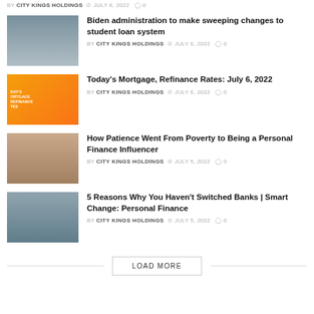BY CITY KINGS HOLDINGS  JULY 6, 2022  0
Biden administration to make sweeping changes to student loan system
BY CITY KINGS HOLDINGS  JULY 6, 2022  0
Today's Mortgage, Refinance Rates: July 6, 2022
BY CITY KINGS HOLDINGS  JULY 6, 2022  0
How Patience Went From Poverty to Being a Personal Finance Influencer
BY CITY KINGS HOLDINGS  JULY 5, 2022  0
5 Reasons Why You Haven't Switched Banks | Smart Change: Personal Finance
BY CITY KINGS HOLDINGS  JULY 5, 2022  0